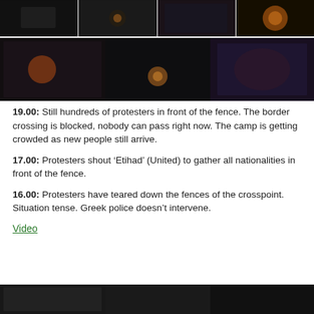[Figure (photo): Grid of nighttime photos showing protesters/refugees near a fence and campfires — top row of 4 dark photos]
[Figure (photo): Grid of nighttime photos showing protesters/refugees near a fence and campfires — middle row of 3 dark photos]
19.00: Still hundreds of protesters in front of the fence. The border crossing is blocked, nobody can pass right now. The camp is getting crowded as new people still arrive.
17.00: Protesters shout ‘Etihad’ (United) to gather all nationalities in front of the fence.
16.00: Protesters have teared down the fences of the crosspoint. Situation tense. Greek police doesn’t intervene.
Video
[Figure (photo): Bottom row of partial nighttime photos]